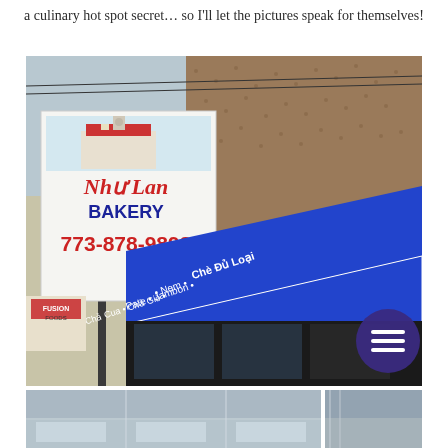a culinary hot spot secret… so I'll let the pictures speak for themselves!
[Figure (photo): Exterior photo of Như Lan Bakery storefront showing a large sign reading 'Như Lan BAKERY 773-878-9898' and a blue awning with text listing menu items including 'Chè Đủ Loại', 'Nem', 'Pate', 'Jambon', and other Vietnamese foods. The building has a brown textured exterior wall.]
[Figure (photo): Interior/window photo showing glass display cases and refrigerators inside the bakery, partially obscured.]